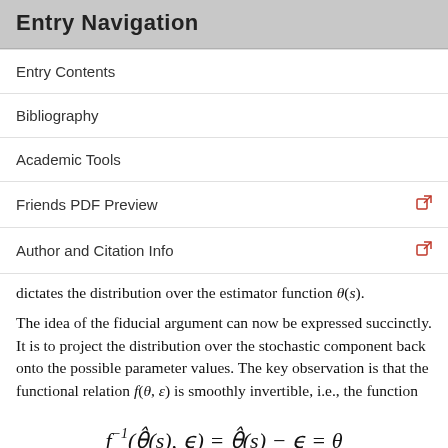Entry Navigation
Entry Contents
Bibliography
Academic Tools
Friends PDF Preview
Author and Citation Info
dictates the distribution over the estimator function θ(s).
The idea of the fiducial argument can now be expressed succinctly. It is to project the distribution over the stochastic component back onto the possible parameter values. The key observation is that the functional relation f(θ, ε) is smoothly invertible, i.e., the function
points each combination of θ̂(s) and ε to a unique parameter value θ. Hence, we can invert the claim of the